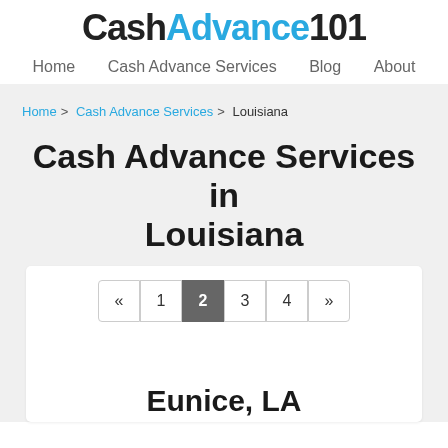CashAdvance101
Home  Cash Advance Services  Blog  About
Home > Cash Advance Services > Louisiana
Cash Advance Services in Louisiana
« 1 2 3 4 »
Eunice, LA